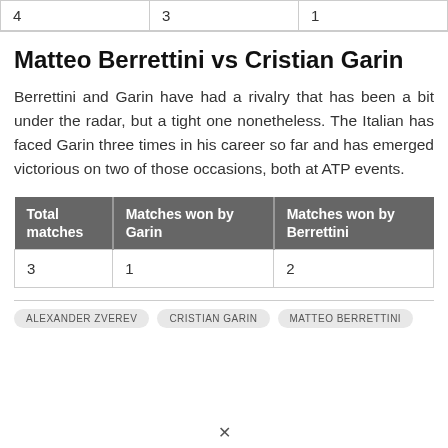|  |  |  |
| --- | --- | --- |
| 4 | 3 | 1 |
Matteo Berrettini vs Cristian Garin
Berrettini and Garin have had a rivalry that has been a bit under the radar, but a tight one nonetheless. The Italian has faced Garin three times in his career so far and has emerged victorious on two of those occasions, both at ATP events.
| Total matches | Matches won by Garin | Matches won by Berrettini |
| --- | --- | --- |
| 3 | 1 | 2 |
ALEXANDER ZVEREV   CRISTIAN GARIN   MATTEO BERRETTINI